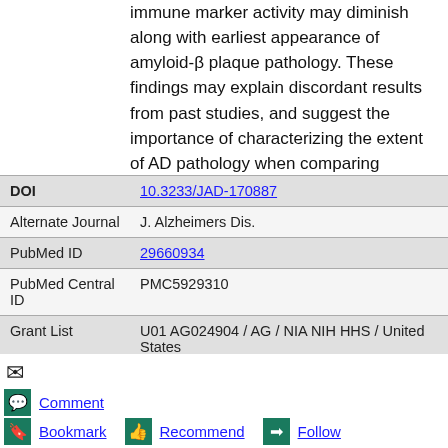immune marker activity may diminish along with earliest appearance of amyloid-β plaque pathology. These findings may explain discordant results from past studies, and suggest the importance of characterizing the extent of AD pathology when comparing clinical groups.
| Field | Value |
| --- | --- |
| DOI | 10.3233/JAD-170887 |
| Alternate Journal | J. Alzheimers Dis. |
| PubMed ID | 29660934 |
| PubMed Central ID | PMC5929310 |
| Grant List | U01 AG024904 / AG / NIA NIH HHS / United States
/ / CIHR / Canada |
[Figure (infographic): Bottom action bar with icons: envelope/email icon, comment speech bubble icon with 'Comment' link, bookmark icon with 'Bookmark' link, thumbs-up icon with 'Recommend' link, arrow icon with 'Follow' link]